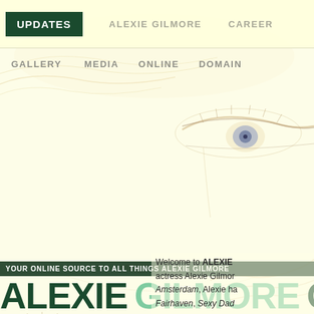UPDATES | ALEXIE GILMORE | CAREER
GALLERY | MEDIA | ONLINE | DOMAIN
[Figure (illustration): Faded watercolor-style illustration of a woman's face, showing eyes and facial features, used as background for the Alexie Gilmore fan website]
YOUR ONLINE SOURCE TO ALL THINGS ALEXIE GILMORE
ALEXIE GILMORE ONLINE
Welcome to ALEXIE actress Alexie Gilmor Amsterdam, Alexie ha Fairhaven, Sexy Dad